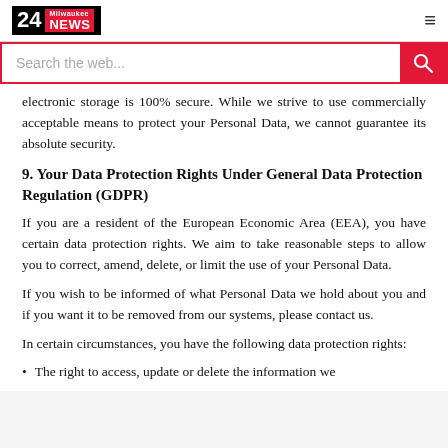24 Milwaukee NEWS
electronic storage is 100% secure. While we strive to use commercially acceptable means to protect your Personal Data, we cannot guarantee its absolute security.
9. Your Data Protection Rights Under General Data Protection Regulation (GDPR)
If you are a resident of the European Economic Area (EEA), you have certain data protection rights. We aim to take reasonable steps to allow you to correct, amend, delete, or limit the use of your Personal Data.
If you wish to be informed of what Personal Data we hold about you and if you want it to be removed from our systems, please contact us.
In certain circumstances, you have the following data protection rights:
The right to access, update or delete the information we